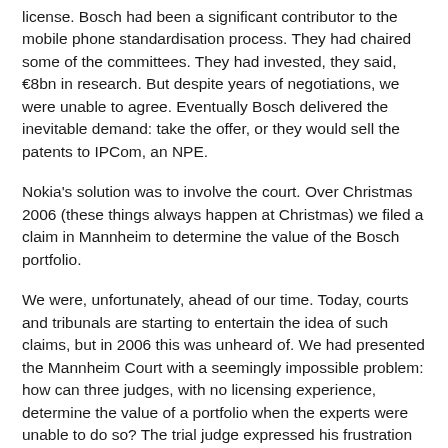license.  Bosch had been a significant contributor to the mobile phone standardisation process.  They had chaired some of the committees.  They had invested, they said, €8bn in research.  But despite years of negotiations, we were unable to agree.  Eventually Bosch delivered the inevitable demand: take the offer, or they would sell the patents to IPCom, an NPE.
Nokia's solution was to involve the court.  Over Christmas 2006 (these things always happen at Christmas) we filed a claim in Mannheim to determine the value of the Bosch portfolio.
We were, unfortunately, ahead of our time.  Today, courts and tribunals are starting to entertain the idea of such claims, but in 2006 this was unheard of.  We had presented the Mannheim Court with a seemingly impossible problem: how can three judges, with no licensing experience, determine the value of a portfolio when the experts were unable to do so?  The trial judge expressed his frustration with both parties, and told IPCom that they should just sue on the patents in the usual way.
And so that is what happened.  IPCom sought injunctions.  Many patents were knocked out, but it had some hits.  Nokia designed around.  IPCom brought criminal actions.  Nokia complained to